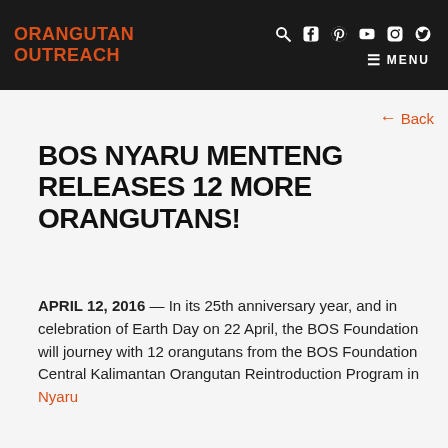ORANGUTAN OUTREACH
BOS NYARU MENTENG RELEASES 12 MORE ORANGUTANS!
APRIL 12, 2016 — In its 25th anniversary year, and in celebration of Earth Day on 22 April, the BOS Foundation will journey with 12 orangutans from the BOS Foundation Central Kalimantan Orangutan Reintroduction Program in Nyaru Menteng...